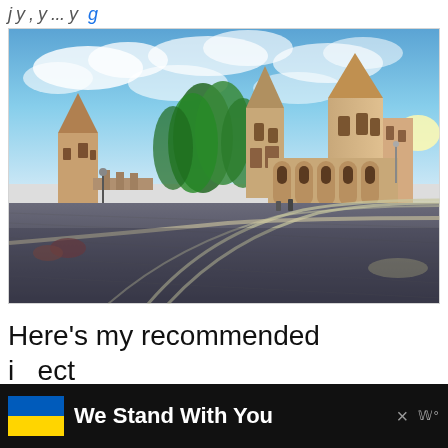j y , y ... y
[Figure (photo): Fisherman's Bastion in Budapest, Hungary. Wide-angle panoramic photo of medieval stone towers and castle buildings with pointed turrets. Green trees in the background, dramatic blue sky with clouds, morning sunlight streaming from the right side. Wet cobblestone plaza in the foreground with curved tramway lines.]
Here's my recommended i...ect
We Stand With You